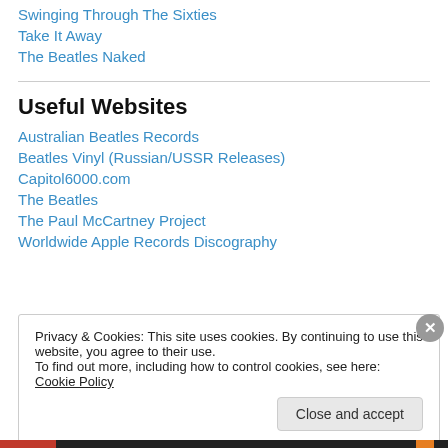Swinging Through The Sixties
Take It Away
The Beatles Naked
Useful Websites
Australian Beatles Records
Beatles Vinyl (Russian/USSR Releases)
Capitol6000.com
The Beatles
The Paul McCartney Project
Worldwide Apple Records Discography
Privacy & Cookies: This site uses cookies. By continuing to use this website, you agree to their use.
To find out more, including how to control cookies, see here: Cookie Policy
Close and accept